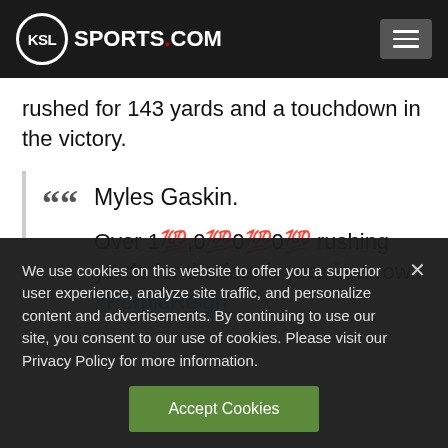KSL SPORTS.COM
rushed for 143 yards and a touchdown in the victory.
Myles Gaskin.

Over 10,000 rushing yards for the fourth year in a row. #PurpleReign
We use cookies on this website to offer you a superior user experience, analyze site traffic, and personalize content and advertisements. By continuing to use our site, you consent to our use of cookies. Please visit our Privacy Policy for more information.
Accept Cookies